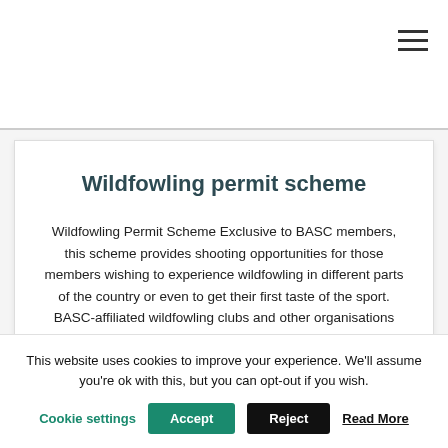Wildfowling permit scheme
Wildfowling Permit Scheme Exclusive to BASC members, this scheme provides shooting opportunities for those members wishing to experience wildfowling in different parts of the country or even to get their first taste of the sport. BASC-affiliated wildfowling clubs and other organisations provide scheme details to BASC, who produce the Wildfowling Permit
This website uses cookies to improve your experience. We'll assume you're ok with this, but you can opt-out if you wish.
Cookie settings | Accept | Reject | Read More